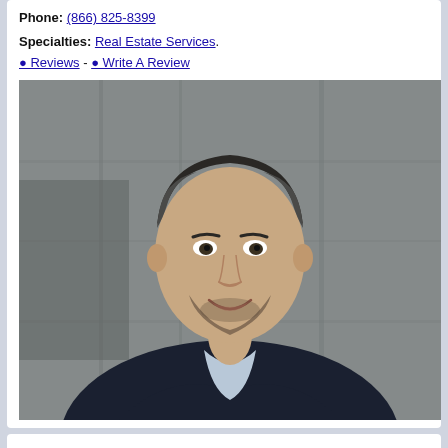Phone: (866) 825-8399
Specialties: Real Estate Services.
0 Reviews - 0 Write A Review
[Figure (photo): Professional headshot of a man in a dark blazer and light blue shirt, smiling, standing in front of a concrete wall background.]